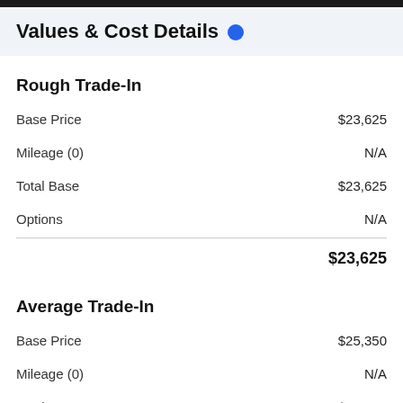Values & Cost Details
Rough Trade-In
|  |  |
| --- | --- |
| Base Price | $23,625 |
| Mileage (0) | N/A |
| Total Base | $23,625 |
| Options | N/A |
|  | $23,625 |
Average Trade-In
|  |  |
| --- | --- |
| Base Price | $25,350 |
| Mileage (0) | N/A |
| Total Base | $25,350 |